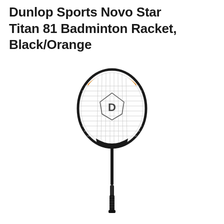Dunlop Sports Novo Star Titan 81 Badminton Racket, Black/Orange
[Figure (photo): A Dunlop Sports Novo Star Titan 81 badminton racket with a black frame, orange accent on the top of the head, white string bed with a Dunlop logo in the center, and a dark handle with grip tape.]